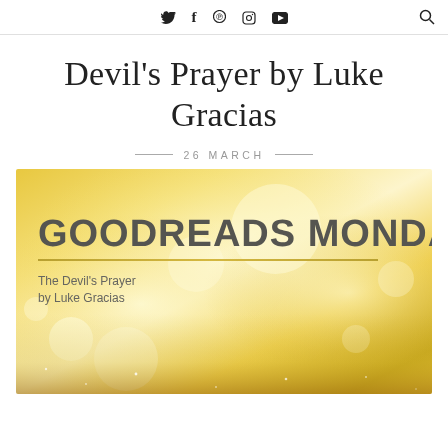Twitter Facebook Pinterest Instagram YouTube [search]
Devil's Prayer by Luke Gracias
26 MARCH
[Figure (infographic): Golden bokeh background banner reading 'GOODREADS MONDAY' with subtitle 'The Devil's Prayer by Luke Gracias']